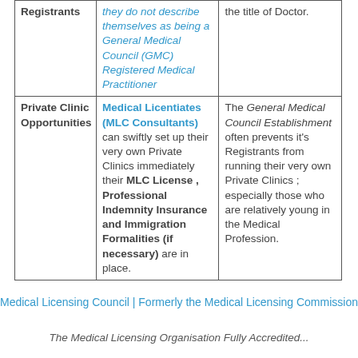|  |  |  |
| --- | --- | --- |
| Registrants | they do not describe themselves as being a General Medical Council (GMC) Registered Medical Practitioner | the title of Doctor. |
| Private Clinic Opportunities | Medical Licentiates (MLC Consultants) can swiftly set up their very own Private Clinics immediately their MLC License , Professional Indemnity Insurance and Immigration Formalities (if necessary) are in place. | The General Medical Council Establishment often prevents it's Registrants from running their very own Private Clinics ; especially those who are relatively young in the Medical Profession. |
Medical Licensing Council | Formerly the Medical Licensing Commission
The Medical Licensing Organisation Fully Accredited...